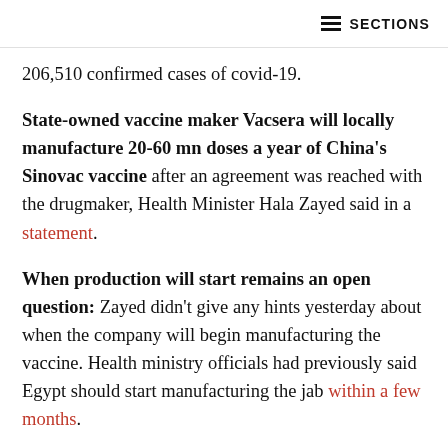≡ SECTIONS
206,510 confirmed cases of covid-19.
State-owned vaccine maker Vacsera will locally manufacture 20-60 mn doses a year of China's Sinovac vaccine after an agreement was reached with the drugmaker, Health Minister Hala Zayed said in a statement.
When production will start remains an open question: Zayed didn't give any hints yesterday about when the company will begin manufacturing the vaccine. Health ministry officials had previously said Egypt should start manufacturing the jab within a few months.
Sinovac is Sinopharm's less popular cousin: The